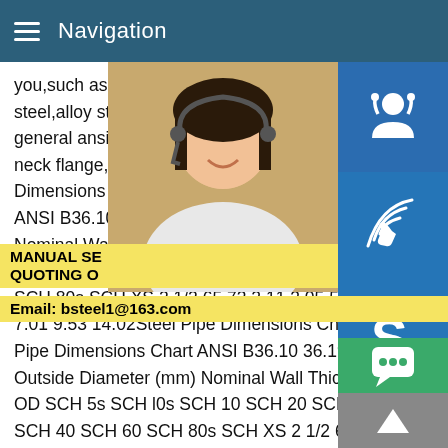Navigation
you,such as ansi,iso,and din.You can also steel,alloy steel,and carbon steel ansi 16.5 general ansi 16.5 flanges,and whether ans neck flange,threaded flange,or integral fla Dimensions Chart ANSI B36.10 36Steel P ANSI B36.10 36.19 Nominal Pipe Size Ou Nominal Wall Thickness Schedule NPS DN SCH 10 SCH 20 SCH 30 SCH 40s SCH S SCH 80s SCH XS 2 1/2 65 73 2.11 3.05 5 7.01 9.53 14.02Steel Pipe Dimensions Ch Pipe Dimensions Chart ANSI B36.10 36.19 Nominal Pipe Size Outside Diameter (mm) Nominal Wall Thickness Schedule NPS DN OD SCH 5s SCH l0s SCH 10 SCH 20 SCH 30 SCH 40s SCH SCH 40 SCH 60 SCH 80s SCH XS 2 1/2 65 73 2.11 3.05 5.16 5.16 7.01 7.01 7.01 9.53 14.02
MANUAL SE
QUOTING O
Email: bsteel1@163.com
[Figure (photo): Customer service representative woman with headset]
[Figure (infographic): Blue customer service icon button]
[Figure (infographic): Blue phone/call icon button]
[Figure (infographic): Blue Skype icon button]
[Figure (infographic): Green chat bubble icon button]
[Figure (infographic): Gray scroll to top arrow button]